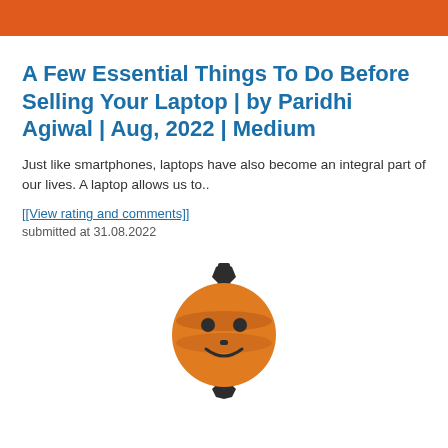A Few Essential Things To Do Before Selling Your Laptop | by Paridhi Agiwal | Aug, 2022 | Medium
Just like smartphones, laptops have also become an integral part of our lives. A laptop allows us to..
[[View rating and comments]]
submitted at 31.08.2022
[Figure (logo): Circular gear-shaped logo with orange and dark gray colors, resembling a face or mechanical emblem]